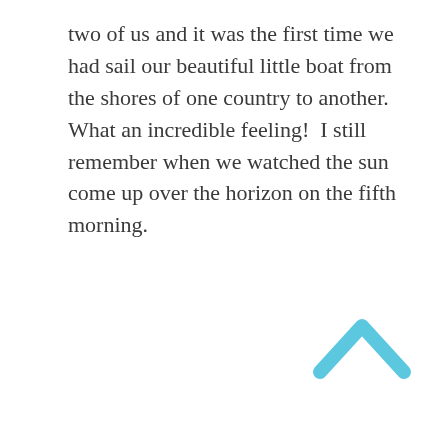two of us and it was the first time we had sail our beautiful little boat from the shores of one country to another.  What an incredible feeling!  I still remember when we watched the sun come up over the horizon on the fifth morning.
[Figure (other): A light blue upward-pointing chevron arrow icon in the bottom-right area of the page.]